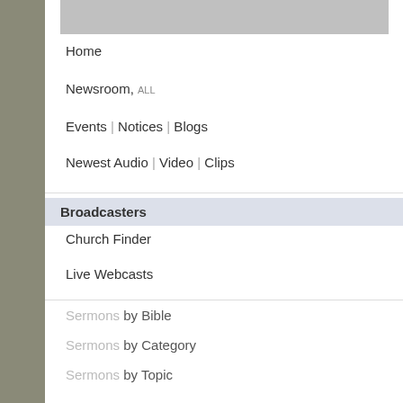[Figure (screenshot): Gray image placeholder at top of left sidebar]
Home
Newsroom, ALL
Events | Notices | Blogs
Newest Audio | Video | Clips
Broadcasters (active/highlighted)
Church Finder
Live Webcasts
Sermons by Bible
Sermons by Category
Sermons by Topic
Sermons by Speaker
Sermons by Language
Sermons by Date
Staff Picks
Comments, ALL -49 sec
Top Sermons
Online Bible
| 24 | 25 | 26 | 27 | 28 | 29 | 30 |
| --- | --- | --- | --- | --- | --- | --- |
| 31 |  |  |  |  |  |  |
| 28 | 29 | 30 |
| --- | --- | --- |